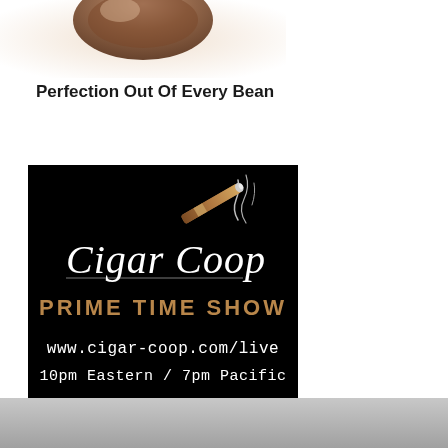[Figure (photo): Partial photo of hands holding a coffee bean or similar, cropped at top, on white background]
Perfection Out Of Every Bean
[Figure (logo): Cigar Coop Prime Time Show advertisement on black background. Shows 'Cigar Coop' in white script font with a cigar graphic, 'PRIME TIME SHOW' in gold/brown text, 'www.cigar-coop.com/live' and '10pm Eastern / 7pm Pacific' in white monospace text.]
[Figure (photo): Grey/silver bar at bottom of page, partial photo or footer graphic]